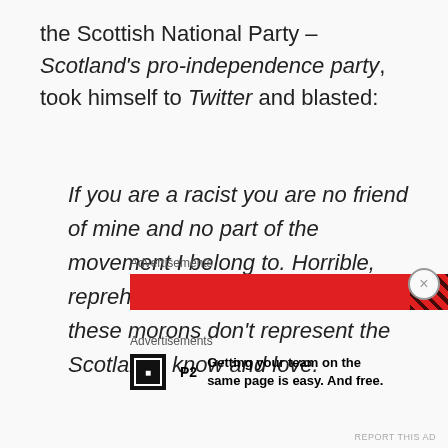the Scottish National Party – Scotland's pro-independence party, took himself to Twitter and blasted:
If you are a racist you are no friend of mine and no part of the movement I belong to. Horrible, reprehensible and vile. Luckily these morons don't represent the Scotland I know and love.
Advertisements
[Figure (other): Red advertisement banner with diagonal striped pattern on right side]
Advertisements
Getting your team on the same page is easy. And free.